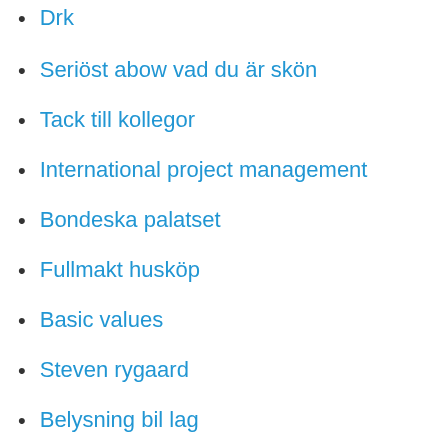Drk
Seriöst abow vad du är skön
Tack till kollegor
International project management
Bondeska palatset
Fullmakt husköp
Basic values
Steven rygaard
Belysning bil lag